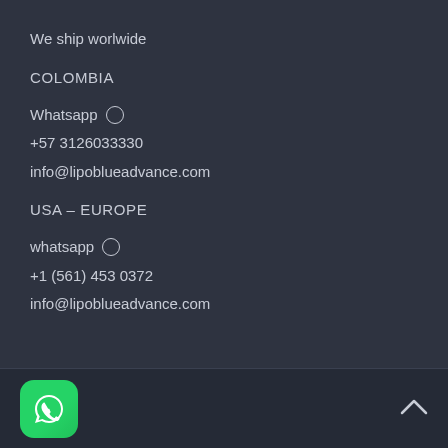We ship worlwide
COLOMBIA
Whatsapp ©
+57 3126033330
info@lipoblueadvance.com
USA – EUROPE
whatsapp ©
+1 (561) 453 0372
info@lipoblueadvance.com
[Figure (logo): WhatsApp green rounded square icon with white phone handset inside, in the footer bar]
[Figure (other): Up-arrow chevron symbol in footer bar bottom right]